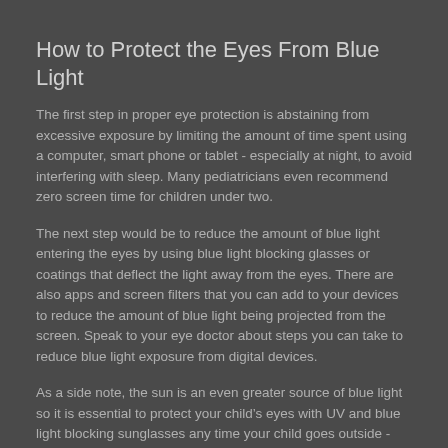How to Protect the Eyes From Blue Light
The first step in proper eye protection is abstaining from excessive exposure by limiting the amount of time spent using a computer, smart phone or tablet - especially at night, to avoid interfering with sleep. Many pediatricians even recommend zero screen time for children under two.
The next step would be to reduce the amount of blue light entering the eyes by using blue light blocking glasses or coatings that deflect the light away from the eyes. There are also apps and screen filters that you can add to your devices to reduce the amount of blue light being projected from the screen. Speak to your eye doctor about steps you can take to reduce blue light exposure from digital devices.
As a side note, the sun is an even greater source of blue light so it is essential to protect your child's eyes with UV and blue light blocking sunglasses any time your child goes outside - even on overcast days.